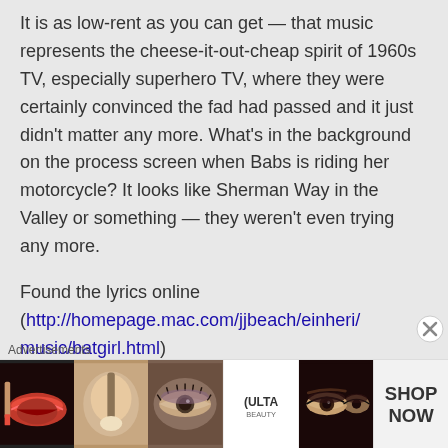It is as low-rent as you can get — that music represents the cheese-it-out-cheap spirit of 1960s TV, especially superhero TV, where they were certainly convinced the fad had passed and it just didn't matter any more. What's in the background on the process screen when Babs is riding her motorcycle? It looks like Sherman Way in the Valley or something — they weren't even trying any more.
Found the lyrics online (http://homepage.mac.com/jjbeach/einheri/music/batgirl.html)
Advertisements
[Figure (illustration): Advertisement banner showing cosmetics/beauty products images including lips with lipstick, makeup brush, eye with eyeshadow, ULTA Beauty logo, and eyes with eyeliner, with SHOP NOW text]